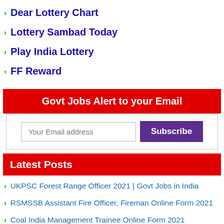Dear Lottery Chart
Lottery Sambad Today
Play India Lottery
FF Reward
Govt Jobs Alert to your Email
Your Email address  Subscribe
Latest Posts
UKPSC Forest Range Officer 2021 | Govt Jobs in India
RSMSSB Assistant Fire Officer, Fireman Online Form 2021
Coal India Management Trainee Online Form 2021